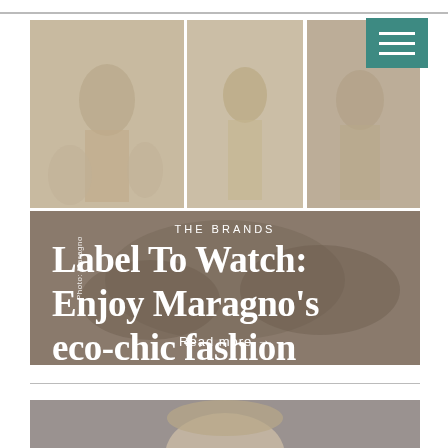[Figure (photo): Hero image collage of three fashion photos on top row showing models in beige/cream eco-fashion outfits, and a bottom row with a model in similar neutral tones. Overlaid text reads 'THE BRANDS' and 'Label To Watch: Enjoy Maragno's eco-chic fashion' with 'Read more →' link. Photo credit: Maragno. Teal hamburger menu button in top-right corner.]
[Figure (photo): Bottom partial photo showing the top of a man's head with gray/blonde hair against a gray background.]